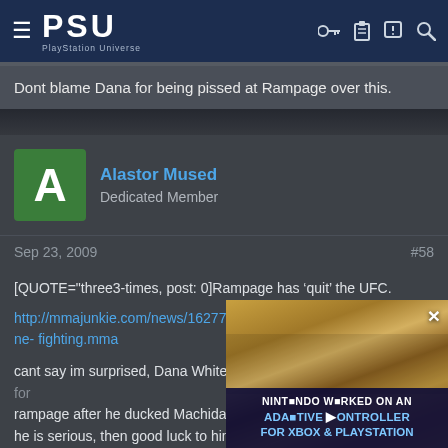PSU PlayStation Universe
Dont blame Dana for being pissed at Rampage over this.
Alastor Mused
Dedicated Member
Sep 23, 2009
#58
[QUOTE="three3-times, post: 0]Rampage has 'quit' the UFC.

http://mmajunkie.com/news/16277/quinton-rampage-jackson-im-done-fighting.mma

cant say im surprised, Dana White is a ****. but i lost a lil bit respect for rampage after he ducked Machida and th... he is serious, then good luck to him. Wou... though

EDIT - ASLATOR: why is vitor deserving a... fight. he clipped him, the hammer fists... stronest r2r mmma WTF soli...